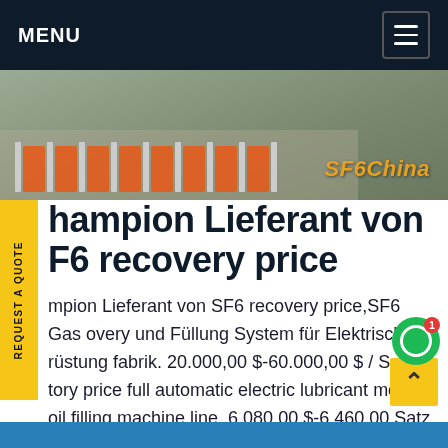MENU
[Figure (photo): Photo of orange and white barrier fences at an industrial or construction site with SF6China watermark text]
Champion Lieferant von SF6 recovery price
Champion Lieferant von SF6 recovery price,SF6 Gas recovery und Füllung System für Elektrische rüstung fabrik. 20.000,00 $-60.000,00 $ / Satz. tory price full automatic electric lubricant motor oil filling machine line. 6.080,00 $-6.460,00 Satz. Öl gefüllt elektromotoren sind wertvoll für die Aufrechterhaltung der reibungslosen Funktion von Bremsen.Get price